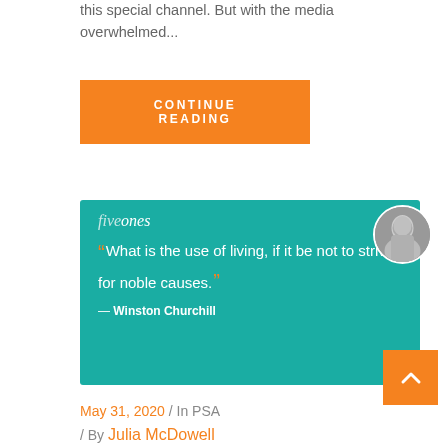this special channel. But with the media overwhelmed...
CONTINUE READING
[Figure (illustration): Teal quote card with 'five ones' logo, circular portrait photo of Winston Churchill, orange quotation marks, white quote text: 'What is the use of living, if it be not to strive for noble causes.' attributed to Winston Churchill]
May 31, 2020 / In PSA / By Julia McDowell